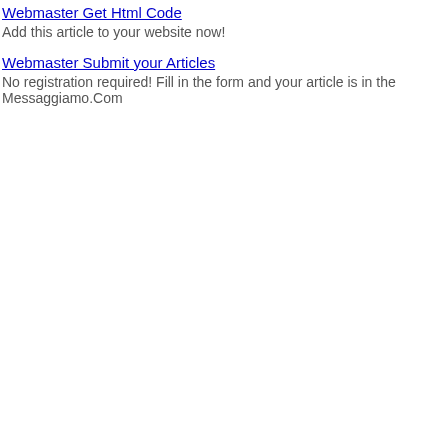Webmaster Get Html Code
Add this article to your website now!
Webmaster Submit your Articles
No registration required! Fill in the form and your article is in the Messaggiamo.Com